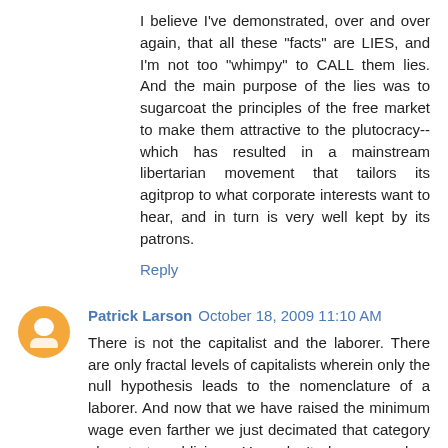I believe I've demonstrated, over and over again, that all these "facts" are LIES, and I'm not too "whimpy" to CALL them lies. And the main purpose of the lies was to sugarcoat the principles of the free market to make them attractive to the plutocracy--which has resulted in a mainstream libertarian movement that tailors its agitprop to what corporate interests want to hear, and in turn is very well kept by its patrons.
Reply
Patrick Larson  October 18, 2009 11:10 AM
There is not the capitalist and the laborer. There are only fractal levels of capitalists wherein only the null hypothesis leads to the nomenclature of a laborer. And now that we have raised the minimum wage even farther we just decimated that category almost to oblivion. You don't have a clear understanding of libertarianism and individual rights as there is nothing vulgar about pursuing what makes you happy as long as you do not violate the rights of others. It's a simple concept. You offer no alternative.